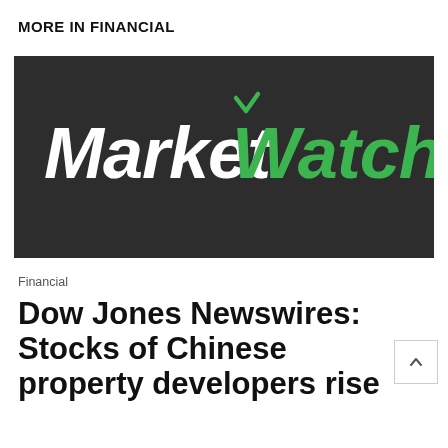MORE IN FINANCIAL
[Figure (logo): MarketWatch logo on dark background — 'Market' in white italic bold, 'Watch' in green italic bold with a checkmark-style accent over the W]
Financial
Dow Jones Newswires: Stocks of Chinese property developers rise